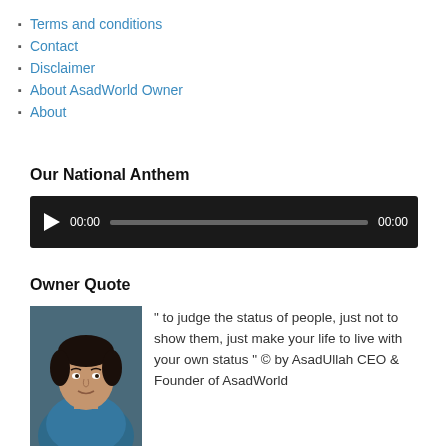Terms and conditions
Contact
Disclaimer
About AsadWorld Owner
About
Our National Anthem
[Figure (other): Audio player widget with play button, time display 00:00, progress bar, and duration 00:00 on dark background]
Owner Quote
" to judge the status of people, just not to show them, just make your life to live with your own status " © by AsadUllah CEO & Founder of AsadWorld